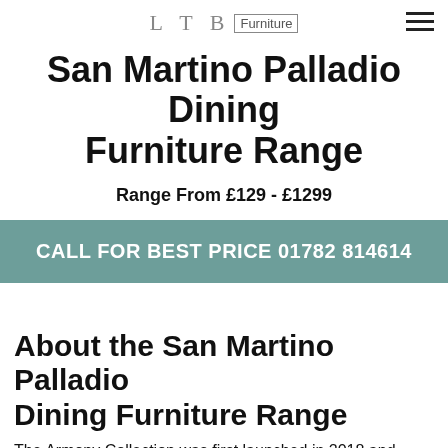LTB Furniture
San Martino Palladio Dining Furniture Range
Range From £129 - £1299
CALL FOR BEST PRICE 01782 814614
About the San Martino Palladio Dining Furniture Range
The Armony Collection was first launched in 2018 and has now one of their leading dining ranges with